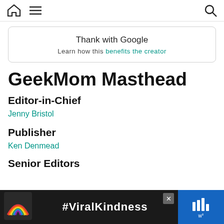[home icon] [menu icon] [search icon]
Thank with Google
Learn how this benefits the creator
GeekMom Masthead
Editor-in-Chief
Jenny Bristol
Publisher
Ken Denmead
Senior Editors
[Figure (other): Advertisement banner: rainbow illustration with '#ViralKindness' text on dark background, with a blue panel on the right showing weather app icons]